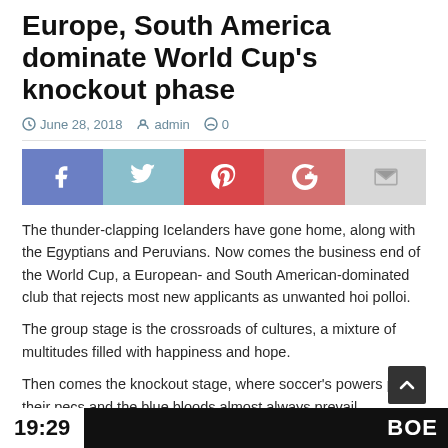Europe, South America dominate World Cup's knockout phase
June 28, 2018  admin  0
[Figure (infographic): Social sharing bar with Facebook, Twitter, Pinterest, Google+, and Email buttons]
The thunder-clapping Icelanders have gone home, along with the Egyptians and Peruvians. Now comes the business end of the World Cup, a European- and South American-dominated club that rejects most new applicants as unwanted hoi polloi.
The group stage is the crossroads of cultures, a mixture of multitudes filled with happiness and hope.
Then comes the knockout stage, where soccer's powers pump their pecs and the blue bloods almost always prevail.
19:29  BOE